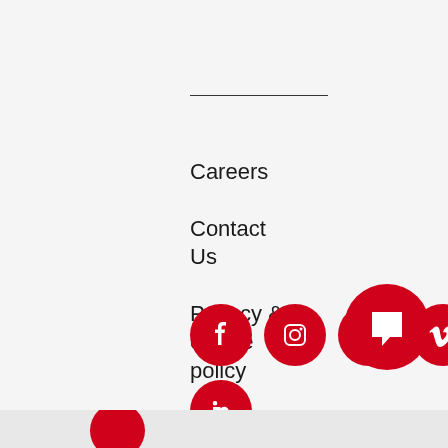Careers
Contact Us
Privacy & cookie policy
[Figure (illustration): Row of red circular social media icons: Facebook, Instagram, Pinterest, Vimeo, YouTube; second row with LinkedIn icon; large red chat bubble icon bottom right; partial red logo bottom center]